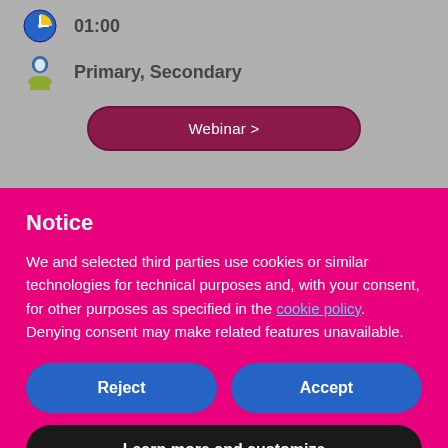[Figure (screenshot): Gray background section showing webinar details: a clock icon with '01:00', and a person/audience icon with 'Primary, Secondary', plus a dark red 'Webinar >' button]
Notice
We and selected third parties use cookies or similar technologies for technical purposes and, with your consent, for other purposes as specified in the cookie policy. Denying consent may make related features unavailable.
Reject
Accept
Learn more and customize